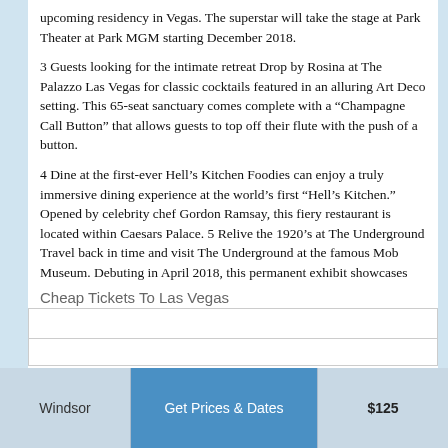upcoming residency in Vegas. The superstar will take the stage at Park Theater at Park MGM starting December 2018.
3 Guests looking for the intimate retreat Drop by Rosina at The Palazzo Las Vegas for classic cocktails featured in an alluring Art Deco setting. This 65-seat sanctuary comes complete with a “Champagne Call Button” that allows guests to top off their flute with the push of a button.
4 Dine at the first-ever Hell’s Kitchen Foodies can enjoy a truly immersive dining experience at the world’s first “Hell’s Kitchen.” Opened by celebrity chef Gordon Ramsay, this fiery restaurant is located within Caesars Palace. 5 Relive the 1920’s at The Underground Travel back in time and visit The Underground at the famous Mob Museum. Debuting in April 2018, this permanent exhibit showcases prohibition history and features a working speakeasy.
Cheap Tickets To Las Vegas
| Windsor | Get Prices & Dates | $125 |
| --- | --- | --- |